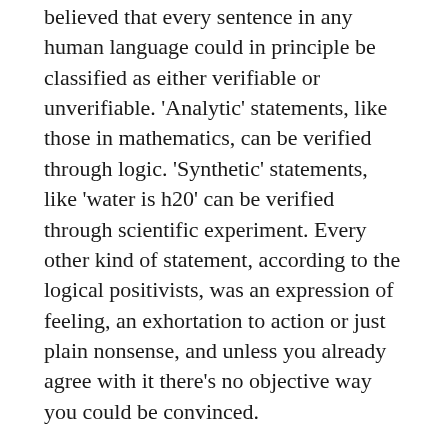believed that every sentence in any human language could in principle be classified as either verifiable or unverifiable. 'Analytic' statements, like those in mathematics, can be verified through logic. 'Synthetic' statements, like 'water is h20' can be verified through scientific experiment. Every other kind of statement, according to the logical positivists, was an expression of feeling, an exhortation to action or just plain nonsense, and unless you already agree with it there's no objective way you could be convinced.
The allure of verificationism was that it offered a systematic way to assess any deductive argument. Take every statement, determine an appropriate method of verification for the statement, discarding any which are unverifiable. Sort the statements into premises and conclusions, and determine the truth value of each premise by reference to trusted knowledge sources. Finally, assess whether the conclusions validly follow from the premises using the methods of formal logic. To use a tired syllogism